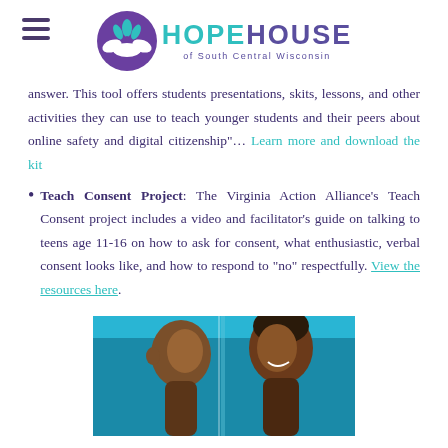Hope House of South Central Wisconsin
answer. This tool offers students presentations, skits, lessons, and other activities they can use to teach younger students and their peers about online safety and digital citizenship"... Learn more and download the kit
Teach Consent Project: The Virginia Action Alliance's Teach Consent project includes a video and facilitator's guide on talking to teens age 11-16 on how to ask for consent, what enthusiastic, verbal consent looks like, and how to respond to "no" respectfully. View the resources here.
[Figure (photo): Photo of two teenagers facing each other in conversation, a boy on the left and a girl on the right smiling, with a blue/teal background]